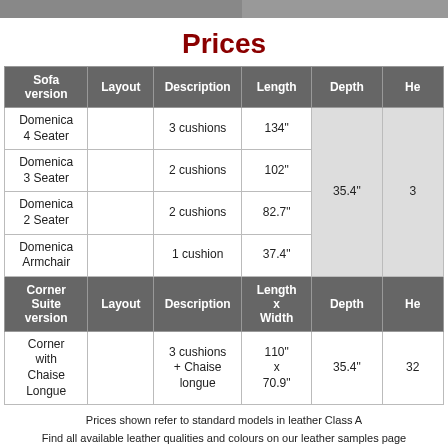Prices
| Sofa version | Layout | Description | Length | Depth | He |
| --- | --- | --- | --- | --- | --- |
| Domenica 4 Seater |  | 3 cushions | 134" | 35.4" | 3 |
| Domenica 3 Seater |  | 2 cushions | 102" | 35.4" | 3 |
| Domenica 2 Seater |  | 2 cushions | 82.7" | 35.4" | 3 |
| Domenica Armchair |  | 1 cushion | 37.4" | 35.4" | 3 |
| Corner Suite version | Layout | Description | Length x Width | Depth | He |
| Corner with Chaise Longue |  | 3 cushions + Chaise longue | 110" x 70.9" | 35.4" | 32 |
Prices shown refer to standard models in leather Class A
Find all available leather qualities and colours on our leather samples page
The prices above include delivery to your living room